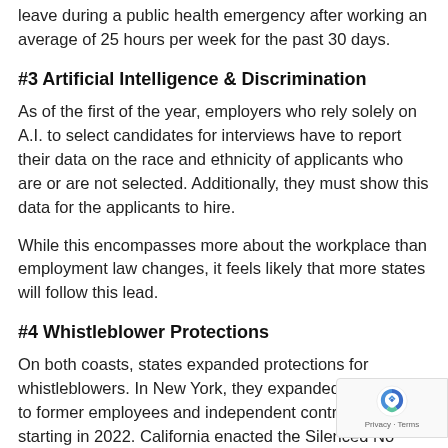leave during a public health emergency after working an average of 25 hours per week for the past 30 days.
#3 Artificial Intelligence & Discrimination
As of the first of the year, employers who rely solely on A.I. to select candidates for interviews have to report their data on the race and ethnicity of applicants who are or are not selected. Additionally, they must show this data for the applicants to hire.
While this encompasses more about the workplace than employment law changes, it feels likely that more states will follow this lead.
#4 Whistleblower Protections
On both coasts, states expanded protections for whistleblowers. In New York, they expanded protections to former employees and independent contractors starting in 2022. California enacted the Silenced No More Act.